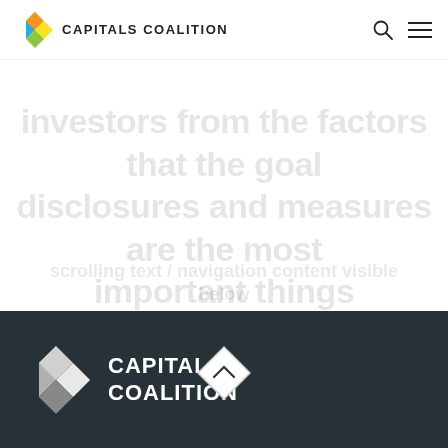CAPITALS COALITION
investors from the factors that the goal disclosures and measures are the most important things
scroll up button / navigation element
[Figure (logo): Capitals Coalition logo in white/grey on dark background with text CAPITALS COALITION]